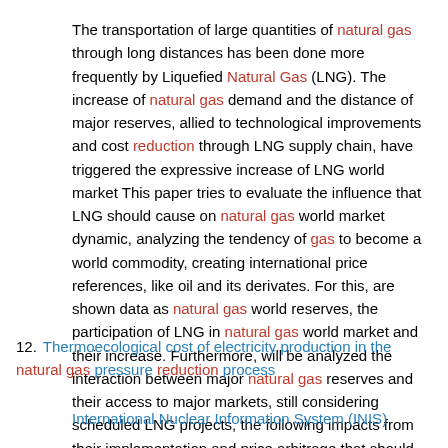The transportation of large quantities of natural gas through long distances has been done more frequently by Liquefied Natural Gas (LNG). The increase of natural gas demand and the distance of major reserves, allied to technological improvements and cost reduction through LNG supply chain, have triggered the expressive increase of LNG world market This paper tries to evaluate the influence that LNG should cause on natural gas world market dynamic, analyzing the tendency of gas to become a world commodity, creating international price references, like oil and its derivates. For this, are shown data as natural gas world reserves, the participation of LNG in natural gas world market and their increase. Furthermore, will be analyzed the interaction between major natural gas reserves and their access to major markets, still considering scheduled LNG projects, the following impacts from their implementation and price arbitrage that should be provoked on natural gas markets. (author)
12. Thermoecological cost of electricity production in the natural gas pressure reduction process
International Nuclear Information System (INIS)